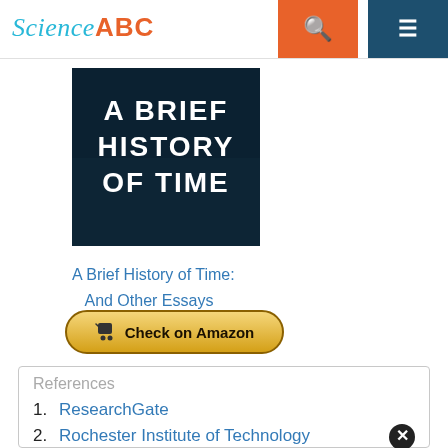Science ABC
[Figure (illustration): Book cover of 'A Brief History of Time' showing dark background with white bold text]
A Brief History of Time:
And Other Essays
[Figure (other): Check on Amazon button with shopping cart icon]
References
1. ResearchGate
2. Rochester Institute of Technology
3. ESO